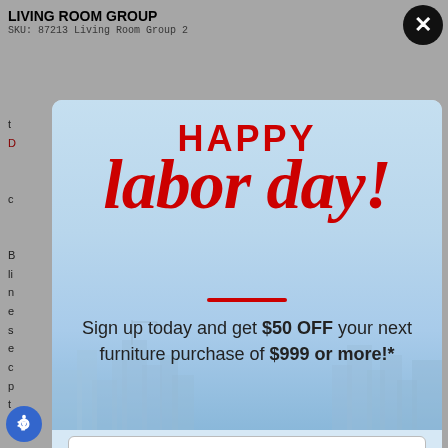LIVING ROOM GROUP
SKU: 87213 Living Room Group 2
[Figure (screenshot): A promotional popup modal for a Labor Day furniture sale. Background shows a light blue city skyline. Text reads 'HAPPY' in bold red, then 'labor day!' in large red italic script. A red horizontal divider line, then 'Sign up today and get $50 OFF your next furniture purchase of $999 or more!*'. Below is an email address input field and a blue 'ENJOY YOUR SAVINGS!' button. At the bottom is 'NO THANKS' in dark text.]